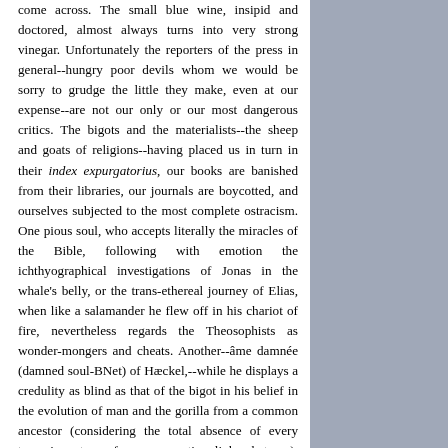come across. The small blue wine, insipid and doctored, almost always turns into very strong vinegar. Unfortunately the reporters of the press in general--hungry poor devils whom we would be sorry to grudge the little they make, even at our expense--are not our only or our most dangerous critics. The bigots and the materialists--the sheep and goats of religions--having placed us in turn in their index expurgatorius, our books are banished from their libraries, our journals are boycotted, and ourselves subjected to the most complete ostracism. One pious soul, who accepts literally the miracles of the Bible, following with emotion the ichthyographical investigations of Jonas in the whale's belly, or the trans-ethereal journey of Elias, when like a salamander he flew off in his chariot of fire, nevertheless regards the Theosophists as wonder-mongers and cheats. Another--âme damnée (damned soul-BNet) of Hæckel,--while he displays a credulity as blind as that of the bigot in his belief in the evolution of man and the gorilla from a common ancestor (considering the total absence of every trace in nature of any connecting link whatever), nearly